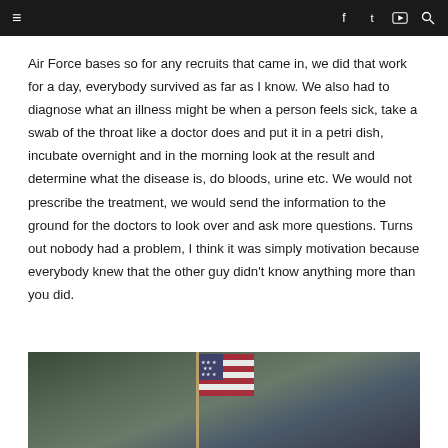Navigation bar with hamburger menu and social icons
Air Force bases so for any recruits that came in, we did that work for a day, everybody survived as far as I know. We also had to diagnose what an illness might be when a person feels sick, take a swab of the throat like a doctor does and put it in a petri dish, incubate overnight and in the morning look at the result and determine what the disease is, do bloods, urine etc. We would not prescribe the treatment, we would send the information to the ground for the doctors to look over and ask more questions. Turns out nobody had a problem, I think it was simply motivation because everybody knew that the other guy didn't know anything more than you did.
[Figure (photo): Person holding or standing near an American flag, outdoor background]